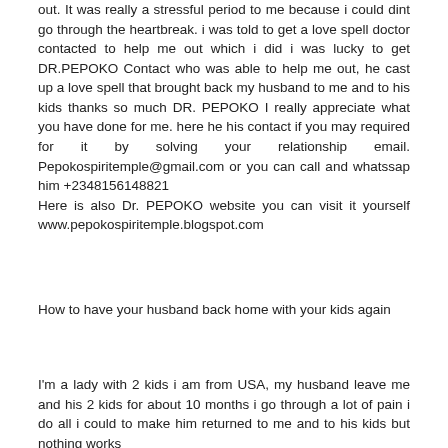out. It was really a stressful period to me because i could dint go through the heartbreak. i was told to get a love spell doctor contacted to help me out which i did i was lucky to get DR.PEPOKO Contact who was able to help me out, he cast up a love spell that brought back my husband to me and to his kids thanks so much DR. PEPOKO I really appreciate what you have done for me. here he his contact if you may required for it by solving your relationship email. Pepokospiritemple@gmail.com or you can call and whatssap him +2348156148821
Here is also Dr. PEPOKO website you can visit it yourself www.pepokospiritemple.blogspot.com
How to have your husband back home with your kids again
I'm a lady with 2 kids i am from USA, my husband leave me and his 2 kids for about 10 months i go through a lot of pain i do all i could to make him returned to me and to his kids but nothing works